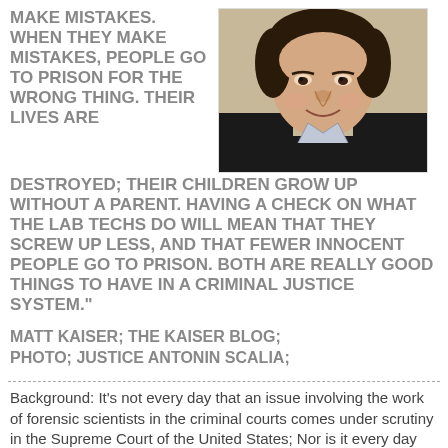MAKE MISTAKES. WHEN THEY MAKE MISTAKES, PEOPLE GO TO PRISON FOR THE WRONG THING. THEIR LIVES ARE DESTROYED; THEIR CHILDREN GROW UP WITHOUT A PARENT. HAVING A CHECK ON WHAT THE LAB TECHS DO WILL MEAN THAT THEY SCREW UP LESS, AND THAT FEWER INNOCENT PEOPLE GO TO PRISON. BOTH ARE REALLY GOOD THINGS TO HAVE IN A CRIMINAL JUSTICE SYSTEM."
[Figure (photo): Photo of Justice Antonin Scalia, a middle-aged man smiling, wearing dark judicial robes, head and shoulders portrait]
MATT KAISER; THE KAISER BLOG; PHOTO; JUSTICE ANTONIN SCALIA;
Background: It's not every day that an issue involving the work of forensic scientists in the criminal courts comes under scrutiny in the Supreme Court of the United States; Nor is it every day that the Supreme Court issues a searing